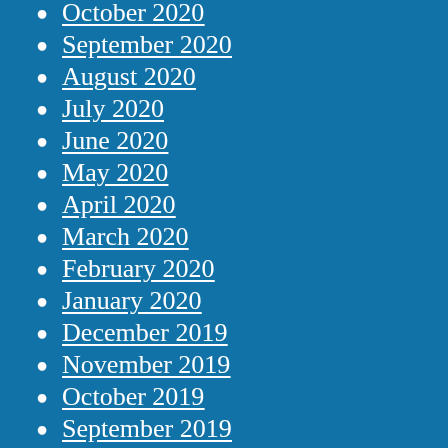October 2020
September 2020
August 2020
July 2020
June 2020
May 2020
April 2020
March 2020
February 2020
January 2020
December 2019
November 2019
October 2019
September 2019
August 2019
July 2019